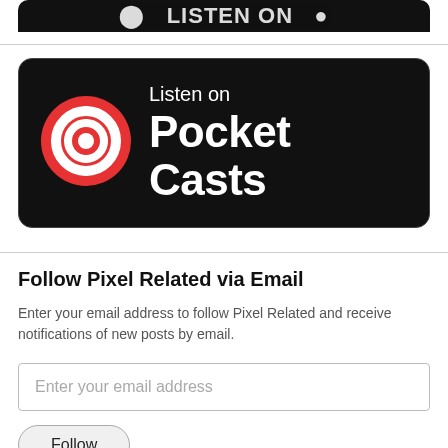[Figure (logo): Partially visible top app store badge button, black background with white text, cropped at top]
[Figure (logo): Listen on Pocket Casts badge button: black rounded rectangle with Pocket Casts red circular logo on left, white text 'Listen on' and 'Pocket Casts' on right]
Follow Pixel Related via Email
Enter your email address to follow Pixel Related and receive notifications of new posts by email.
Enter your email address
Follow